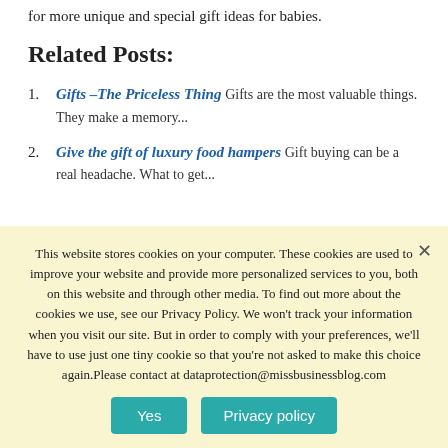for more unique and special gift ideas for babies.
Related Posts:
Gifts –The Priceless Thing Gifts are the most valuable things. They make a memory...
Give the gift of luxury food hampers Gift buying can be a real headache. What to get...
This website stores cookies on your computer. These cookies are used to improve your website and provide more personalized services to you, both on this website and through other media. To find out more about the cookies we use, see our Privacy Policy. We won't track your information when you visit our site. But in order to comply with your preferences, we'll have to use just one tiny cookie so that you're not asked to make this choice again.Please contact at dataprotection@missbusinessblog.com